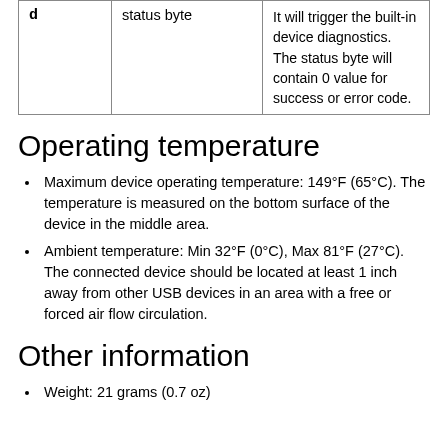|  |  |  |
| --- | --- | --- |
| d | status byte | It will trigger the built-in device diagnostics. The status byte will contain 0 value for success or error code. |
Operating temperature
Maximum device operating temperature: 149°F (65°C). The temperature is measured on the bottom surface of the device in the middle area.
Ambient temperature: Min 32°F (0°C), Max 81°F (27°C). The connected device should be located at least 1 inch away from other USB devices in an area with a free or forced air flow circulation.
Other information
Weight: 21 grams (0.7 oz)